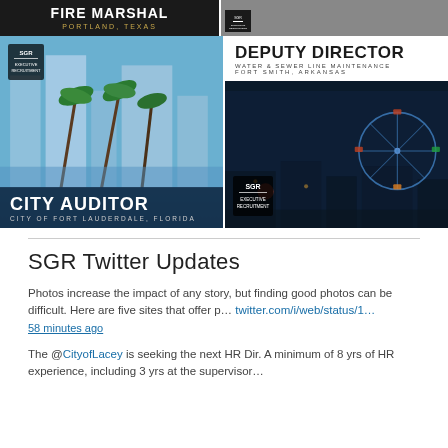[Figure (photo): Fire Marshal Portland Texas recruitment ad - partial top portion visible with dark background, white bold text 'FIRE MARSHAL' and golden text 'PORTLAND, TEXAS']
[Figure (photo): SGR Executive Recruitment ad - top right partial image with dark SGR executive recruitment badge]
[Figure (photo): City Auditor - City of Fort Lauderdale Florida recruitment ad with palm trees and cityscape photo, SGR Executive Recruitment logo, dark blue overlay at bottom with title]
[Figure (photo): Deputy Director Water & Sewer Line Maintenance Fort Smith Arkansas recruitment ad with ferris wheel night photo and SGR Executive Recruitment logo]
SGR Twitter Updates
Photos increase the impact of any story, but finding good photos can be difficult. Here are five sites that offer p… twitter.com/i/web/status/1… 58 minutes ago
The @CityofLacey is seeking the next HR Dir. A minimum of 8 yrs of HR experience, including 3 yrs at the supervisor…